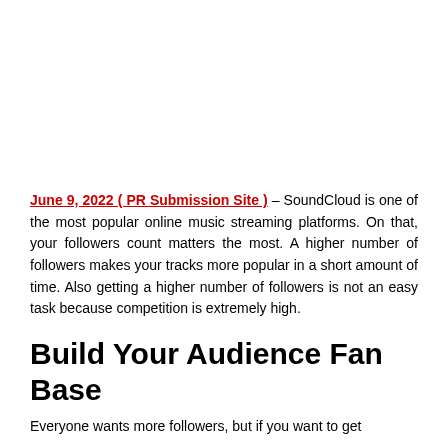June 9, 2022 ( PR Submission Site ) – SoundCloud is one of the most popular online music streaming platforms. On that, your followers count matters the most. A higher number of followers makes your tracks more popular in a short amount of time. Also getting a higher number of followers is not an easy task because competition is extremely high.
Build Your Audience Fan Base
Everyone wants more followers, but if you want to get